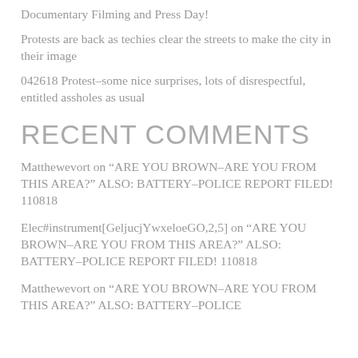Documentary Filming and Press Day!
Protests are back as techies clear the streets to make the city in their image
042618 Protest–some nice surprises, lots of disrespectful, entitled assholes as usual
RECENT COMMENTS
Matthewevort on “ARE YOU BROWN–ARE YOU FROM THIS AREA?” ALSO: BATTERY–POLICE REPORT FILED! 110818
Elec#instrument[GeljucjYwxeloeGO,2,5] on “ARE YOU BROWN–ARE YOU FROM THIS AREA?” ALSO: BATTERY–POLICE REPORT FILED! 110818
Matthewevort on “ARE YOU BROWN–ARE YOU FROM THIS AREA?” ALSO: BATTERY–POLICE